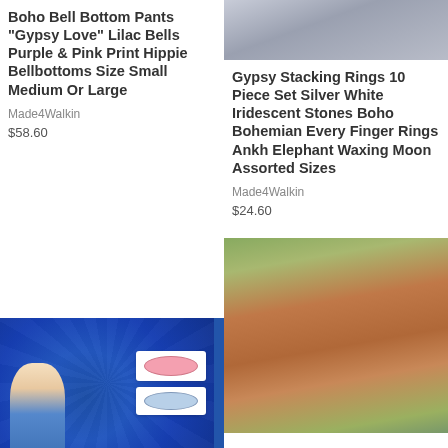Boho Bell Bottom Pants "Gypsy Love" Lilac Bells Purple & Pink Print Hippie Bellbottoms Size Small Medium Or Large
Made4Walkin
$58.60
[Figure (photo): Partial feather/texture photo cropped at top of page, top-right cell]
Gypsy Stacking Rings 10 Piece Set Silver White Iridescent Stones Boho Bohemian Every Finger Rings Ankh Elephant Waxing Moon Assorted Sizes
Made4Walkin
$24.60
[Figure (photo): Colorful blue mandala-pattern background with a person wearing blue round sunglasses; two product images of sunglasses (pink and blue) overlaid on right side]
[Figure (photo): Woman with blonde hair wearing a floral boho kimono/dress, back facing camera, outdoors near a camper]